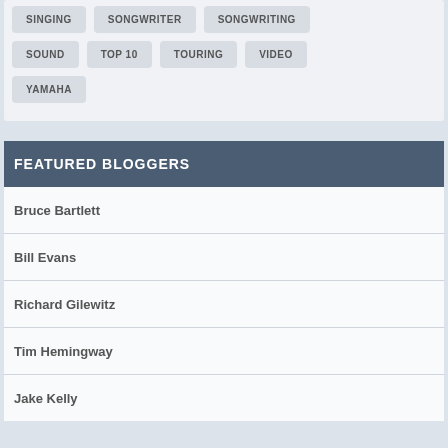SINGING
SONGWRITER
SONGWRITING
SOUND
TOP 10
TOURING
VIDEO
YAMAHA
FEATURED BLOGGERS
Bruce Bartlett
Bill Evans
Richard Gilewitz
Tim Hemingway
Jake Kelly